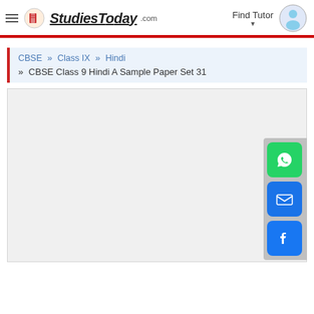StudiesToday.com — Find Tutor
CBSE » Class IX » Hindi
» CBSE Class 9 Hindi A Sample Paper Set 31
[Figure (screenshot): Empty content/advertisement placeholder area below the breadcrumb, with social share buttons (WhatsApp, Email, Facebook) on the right side]